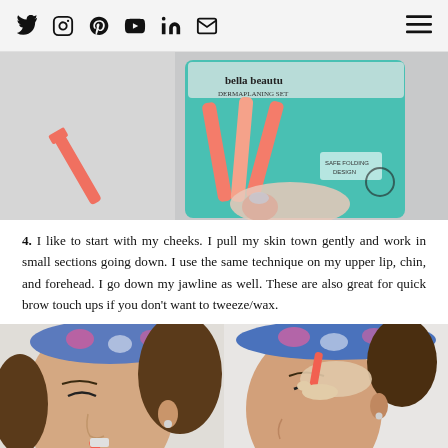Social media icons: Twitter, Instagram, Pinterest, YouTube, LinkedIn, Email; Hamburger menu
[Figure (photo): Hand holding a Bella Beauty dermaplaning razor set in teal packaging with coral-colored razors, with a single coral spatula/razor to the left, on a light gray background.]
4. I like to start with my cheeks. I pull my skin town gently and work in small sections going down. I use the same technique on my upper lip, chin, and forehead. I go down my jawline as well. These are also great for quick brow touch ups if you don't want to tweeze/wax.
[Figure (photo): Two side-by-side photos of a woman with a colorful floral headband: left shows her using a coral dermaplaning razor on her cheek; right shows her using the razor near her eyebrow/forehead area.]